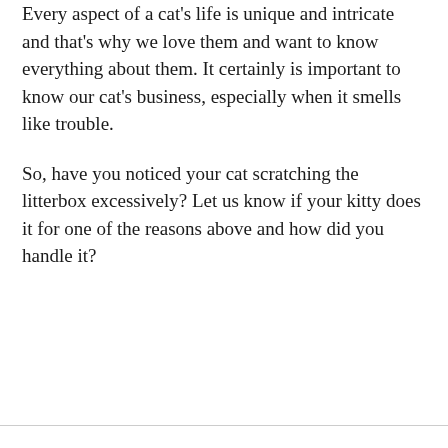Every aspect of a cat's life is unique and intricate and that's why we love them and want to know everything about them. It certainly is important to know our cat's business, especially when it smells like trouble.
So, have you noticed your cat scratching the litterbox excessively? Let us know if your kitty does it for one of the reasons above and how did you handle it?